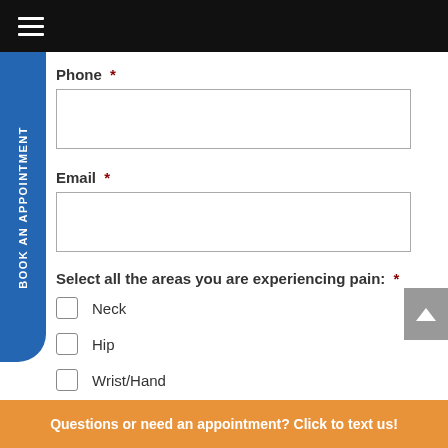Phone *
Email *
Select all the areas you are experiencing pain: *
Neck
Hip
Wrist/Hand
Mid Back
Questions or need an appointment? Click to text us!